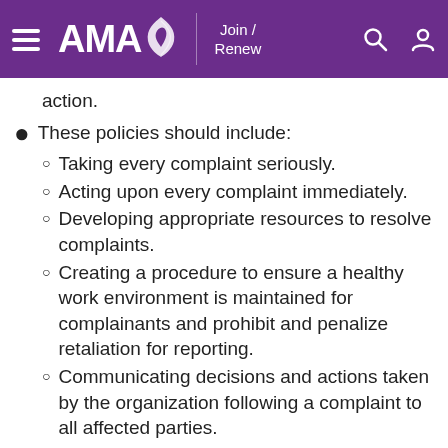AMA — Join / Renew
action.
These policies should include:
Taking every complaint seriously.
Acting upon every complaint immediately.
Developing appropriate resources to resolve complaints.
Creating a procedure to ensure a healthy work environment is maintained for complainants and prohibit and penalize retaliation for reporting.
Communicating decisions and actions taken by the organization following a complaint to all affected parties.
Document training requirements to all the members of the health care system and